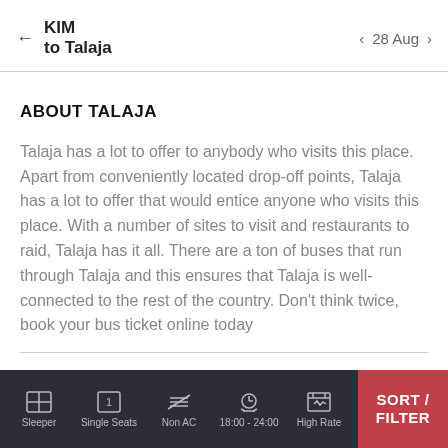KIM to Talaja | 28 Aug
ABOUT TALAJA
Talaja has a lot to offer to anybody who visits this place. Apart from conveniently located drop-off points, Talaja has a lot to offer that would entice anyone who visits this place. With a number of sites to visit and restaurants to raid, Talaja has it all. There are a ton of buses that run through Talaja and this ensures that Talaja is well-connected to the rest of the country. Don't think twice, book your bus ticket online today
Sleeper | Single Seats | Non AC | 18:00 - 24:00 | High Rate | SORT / FILTER